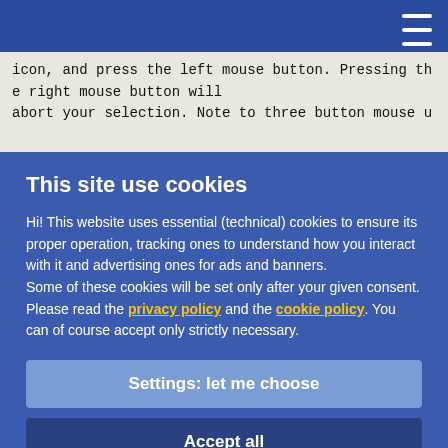Navigation bar with hamburger menu icon
icon, and press the left mouse button. Pressing the right mouse button will
abort your selection. Note to three button mouse u
This site use cookies
Hi! This website uses essential (technical) cookies to ensure its proper operation, tracking ones to understand how you interact with it and advertising ones for ads and banners.
Some of these cookies will be set only after your given consent.
Please read the privacy policy and the cookie policy. You can of course accept only strictly necessary.
Settings: let me choose
Accept all